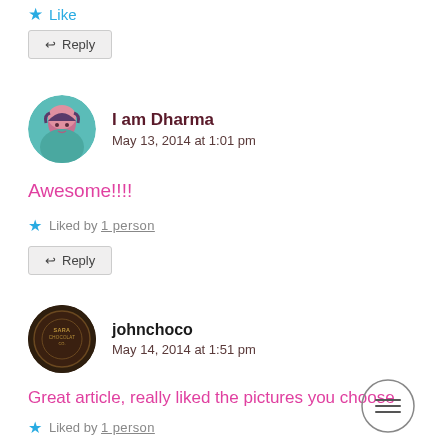★ Like
↩ Reply
I am Dharma
May 13, 2014 at 1:01 pm
Awesome!!!!
★ Liked by 1 person
↩ Reply
johnchoco
May 14, 2014 at 1:51 pm
Great article, really liked the pictures you choose
★ Liked by 1 person
[Figure (other): Circular menu button with three horizontal lines (hamburger icon)]